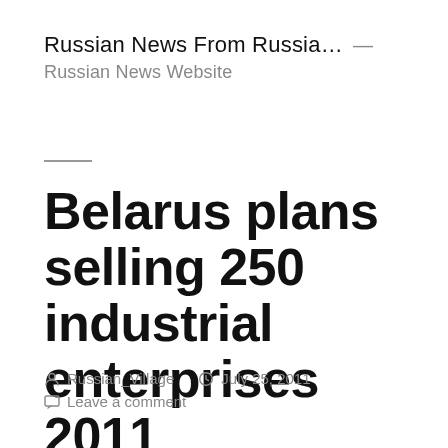Russian News From Russia… — Russian News Website
Belarus plans selling 250 industrial enterprises 2011
Russian_Village   July 25, 2011   Leave a comment